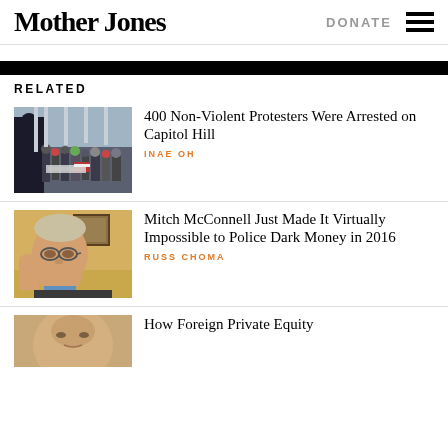Mother Jones
RELATED
[Figure (photo): Crowd of protesters on Capitol Hill steps with police officer in foreground]
400 Non-Violent Protesters Were Arrested on Capitol Hill
INAE OH
[Figure (photo): Portrait of Mitch McConnell]
Mitch McConnell Just Made It Virtually Impossible to Police Dark Money in 2016
RUSS CHOMA
[Figure (photo): Partial photo of person (article thumbnail)]
How Foreign Private Equity